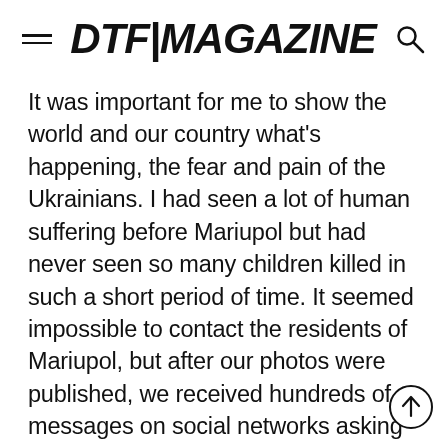DTF|MAGAZINE
It was important for me to show the world and our country what’s happening, the fear and pain of the Ukrainians. I had seen a lot of human suffering before Mariupol but had never seen so many children killed in such a short period of time. It seemed impossible to contact the residents of Mariupol, but after our photos were published, we received hundreds of messages on social networks asking us to find relatives and friends, but unfortunately, the situation did not allow us